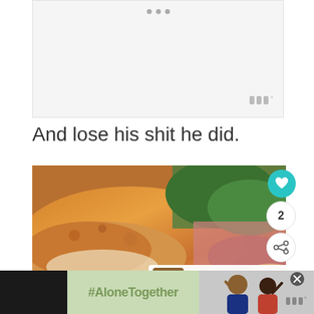[Figure (other): Advertisement placeholder with light gray background and three dots at top center, watermark logo at bottom right]
And lose his shit he did.
[Figure (photo): Close-up photo of a grilled or baked food item (appears to be a fish cake or grilled chicken) with green vegetables and pink/red elements in the background. A 'What's Next' overlay shows Grilled Vegetable... with a thumbnail. Heart button showing 2 likes and a share button overlay on the right side.]
[Figure (other): Bottom advertisement banner with dark background on left, #AloneTogether hashtag on green background, photo of two people waving on right, close button, and watermark logo]